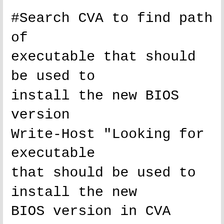#Search CVA to find path of executable that should be used to install the new BIOS version
Write-Host "Looking for executable that should be used to install the new BIOS version in CVA file"
Out-File $LogFile -Append -InputObject ("Looking for executable that should be used to install the new BIOS version in CVA file")
$CVA_Install_Command = Get-Content $BIOS_CVA | Where {$_ -like "*SilentInstall*"}
$CVA_Install_EXE = $CVA_Install_Command | % {$_.Split(""")[1]}
Write-Host "Install command from CVA found: $CVA_Install_EXE"